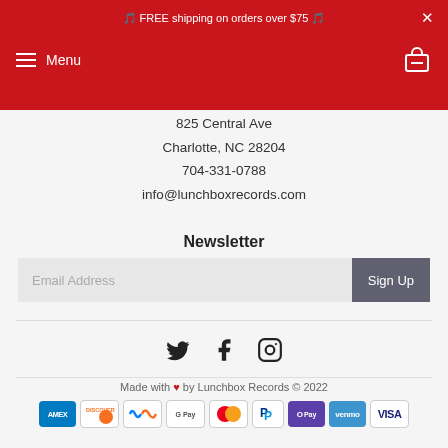🎵 FREE shipping on orders over $75 🎵
825 Central Ave
Charlotte, NC 28204
704-331-0788
info@lunchboxrecords.com
Newsletter
Email Address  Sign Up
Social media icons: Twitter, Facebook, Instagram
Made with ♥ by Lunchbox Records © 2022
[Figure (other): Payment method icons: American Express, Discover, Meta, Google Pay, Mastercard, PayPal, OPay, Venmo, Visa]